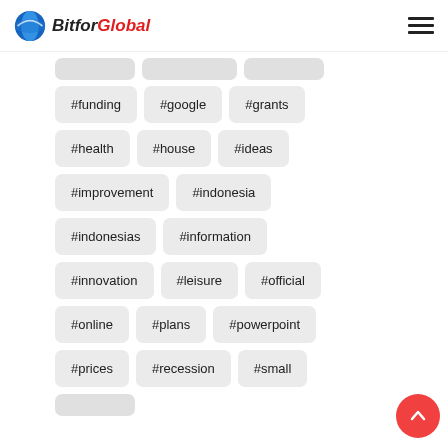BitforGlobal
#funding
#google
#grants
#health
#house
#ideas
#improvement
#indonesia
#indonesias
#information
#innovation
#leisure
#official
#online
#plans
#powerpoint
#prices
#recession
#small